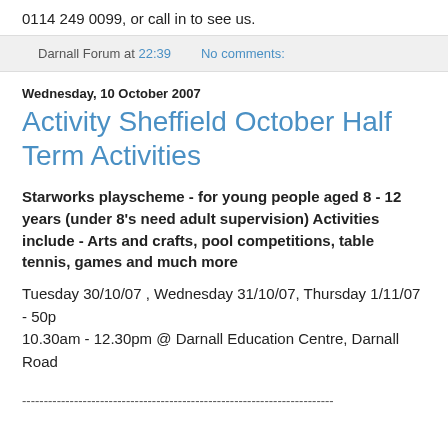0114 249 0099, or call in to see us.
Darnall Forum at 22:39   No comments:
Wednesday, 10 October 2007
Activity Sheffield October Half Term Activities
Starworks playscheme - for young people aged 8 - 12 years (under 8's need adult supervision) Activities include - Arts and crafts, pool competitions, table tennis, games and much more
Tuesday 30/10/07 , Wednesday 31/10/07, Thursday 1/11/07 - 50p
10.30am - 12.30pm @ Darnall Education Centre, Darnall Road
------------------------------------------------------------------------